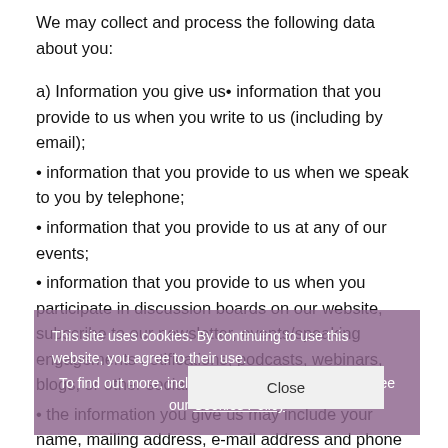We may collect and process the following data about you:
a) Information you give us• information that you provide to us when you write to us (including by email);
• information that you provide to us when we speak to you by telephone;
• information that you provide to us at any of our events;
• information that you provide to us when you participate in discussion boards on our website, subscribe to our newsletter, events/speaking engagements notifications, podcasts, webinars, blogs, or other social media platforms;
• the information you give us may include your name, mailing address, e-mail address and phone number, personal description, photograph;
• information that you provide to us when you register for or apply for a job on or via our website;
• For recruiting purposes, the information you provide to us may include background information required to apply for a job, other personal information that you include on your
This site uses cookies. By continuing to use this website, you agree to their use.
To find out more, including how to control cookies, see our Cookies Policy